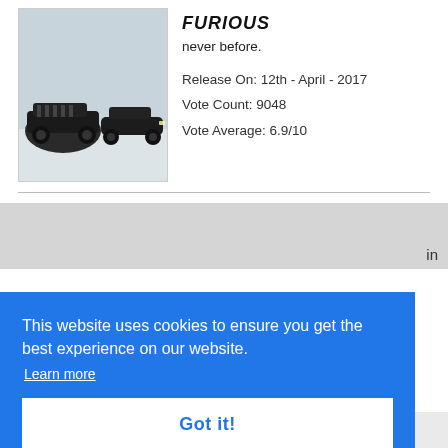[Figure (photo): Movie poster showing two dark cars on a snowy road]
never before.
Release On: 12th - April - 2017
Vote Count: 9048
Vote Average: 6.9/10
This website uses cookies to ensure you get the best experience on our website.
Learn more
Got it!
in
1990 1989 1988 1987 1986 1985 1984 1982